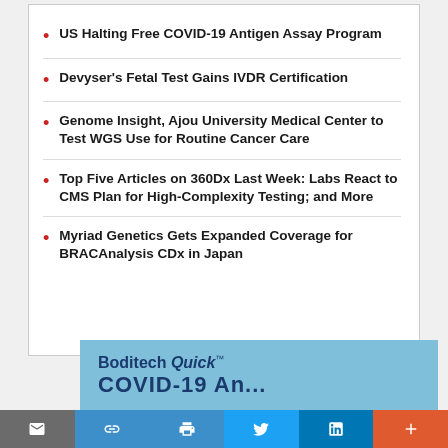US Halting Free COVID-19 Antigen Assay Program
Devyser's Fetal Test Gains IVDR Certification
Genome Insight, Ajou University Medical Center to Test WGS Use for Routine Cancer Care
Top Five Articles on 360Dx Last Week: Labs React to CMS Plan for High-Complexity Testing; and More
Myriad Genetics Gets Expanded Coverage for BRACAnalysis CDx in Japan
[Figure (screenshot): Boditech Quick COVID-19 advertisement banner with blue background]
Social share toolbar with email, link, print, Twitter, LinkedIn, and more buttons